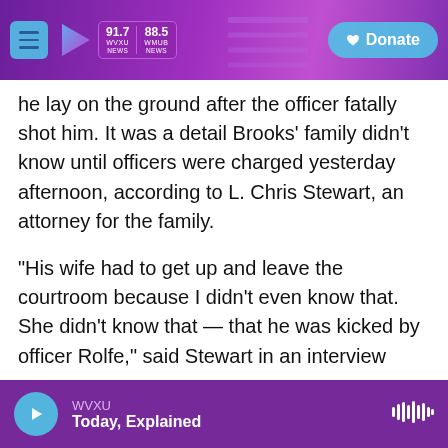WVXU 91.7 NEWS | 88.5 WMUB NEWS | Donate
he lay on the ground after the officer fatally shot him. It was a detail Brooks' family didn't know until officers were charged yesterday afternoon, according to L. Chris Stewart, an attorney for the family.
"His wife had to get up and leave the courtroom because I didn't even know that. She didn't know that — that he was kicked by officer Rolfe," said Stewart in an interview Thursday with NPR's Morning Edition. "But it shows [the officer's] mental state. He wasn't fearing for his life. He was enraged because of that tussle. And he said, 'I got him' and
WVXU — Today, Explained